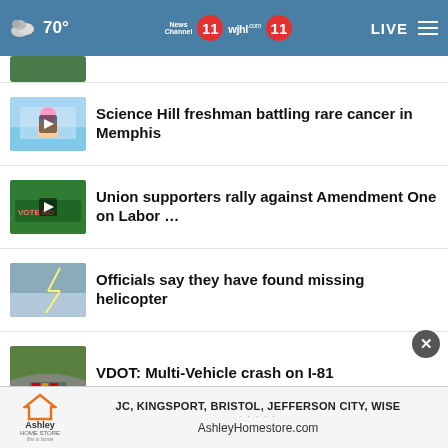70° | News Channel 11 | wjhl 11 | LIVE
Science Hill freshman battling rare cancer in Memphis
Union supporters rally against Amendment One on Labor …
Officials say they have found missing helicopter
VDOT: Multi-Vehicle crash on I-81
Food City kicks off School Bucks Challenge
[Figure (screenshot): Ashley HomeStore advertisement banner with text: JC, KINGSPORT, BRISTOL, JEFFERSON CITY, WISE | AshleyHomestore.com]